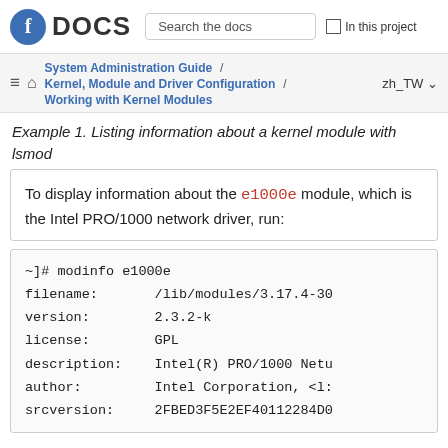DOCS | Search the docs | In this project
System Administration Guide / Kernel, Module and Driver Configuration / Working with Kernel Modules | zh_TW
Example 1. Listing information about a kernel module with lsmod
To display information about the e1000e module, which is the Intel PRO/1000 network driver, run:
~]# modinfo e1000e
filename:       /lib/modules/3.17.4-30
version:        2.3.2-k
license:        GPL
description:    Intel(R) PRO/1000 Netu
author:         Intel Corporation, <l:
srcversion:     2FBED3F5E2EF40112284D0